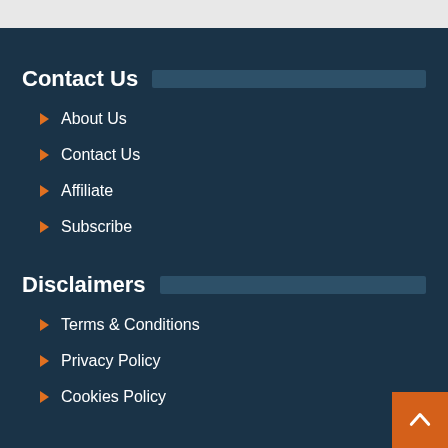Contact Us
About Us
Contact Us
Affiliate
Subscribe
Disclaimers
Terms & Conditions
Privacy Policy
Cookies Policy